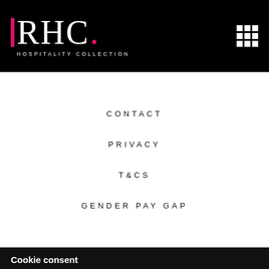RHC. HOSPITALITY COLLECTION
CONTACT
PRIVACY
T&CS
GENDER PAY GAP
Cookie consent
We use cookies on our website to give you the most relevant experience. By clicking "Accept", you consent to the use of ALL the cookies. Read More
Cookie settings   ACCEPT   REJECT
alert(3)